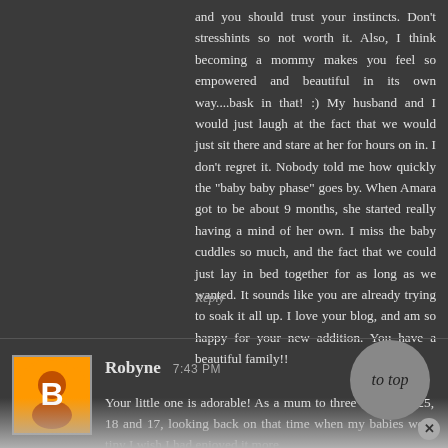and you should trust your instincts. Don't stresshints so not worth it. Also, I think becoming a mommy makes you feel so empowered and beautiful in its own way....bask in that! :) My husband and I would just laugh at the fact that we would just sit there and stare at her for hours on in. I don't regret it. Nobody told me how quickly the "baby baby phase" goes by. When Amara got to be about 9 months, she started really having a mind of her own. I miss the baby cuddles so much, and the fact that we could just lay in bed together for as long as we wanted. It sounds like you are already trying to soak it all up. I love your blog, and am so happy for your new addition. You have a beautiful family!!
Reply
Robyne 7:43 PM
Your little one is adorable! As a mum to three boys now 25, 18 and 17, looking back on that time when my babies were tiny I wish I had enjoyed it more.